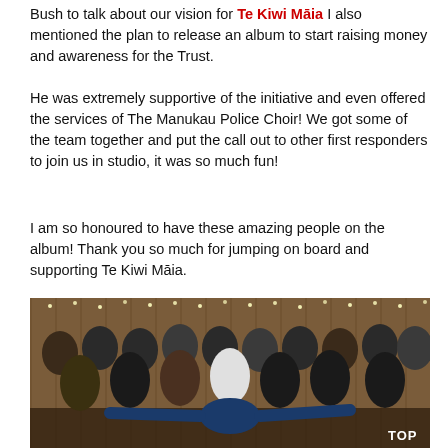Bush to talk about our vision for Te Kiwi Māia I also mentioned the plan to release an album to start raising money and awareness for the Trust.
He was extremely supportive of the initiative and even offered the services of The Manukau Police Choir! We got some of the team together and put the call out to other first responders to join us in studio, it was so much fun!
I am so honoured to have these amazing people on the album! Thank you so much for jumping on board and supporting Te Kiwi Māia.
[Figure (photo): Group photo of approximately 15 people standing together in a wood-panelled room decorated with fairy lights. A man in a blue jacket is in the foreground with arms outstretched. The group includes people in various outfits including police/first responder uniforms. Text 'TOP' appears in the bottom right corner.]